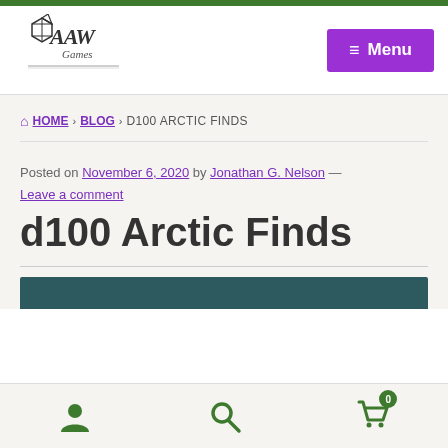AAW Games logo and Menu navigation
HOME › BLOG › D100 ARCTIC FINDS
Posted on November 6, 2020 by Jonathan G. Nelson — Leave a comment
d100 Arctic Finds